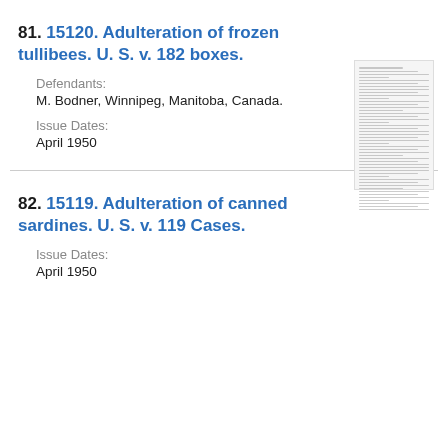81. 15120. Adulteration of frozen tullibees. U. S. v. 182 boxes.
Defendants:
M. Bodner, Winnipeg, Manitoba, Canada.
Issue Dates:
April 1950
[Figure (other): Thumbnail image of a government document page]
82. 15119. Adulteration of canned sardines. U. S. v. 119 Cases.
Issue Dates:
April 1950
[Figure (other): Thumbnail image of a government document page]